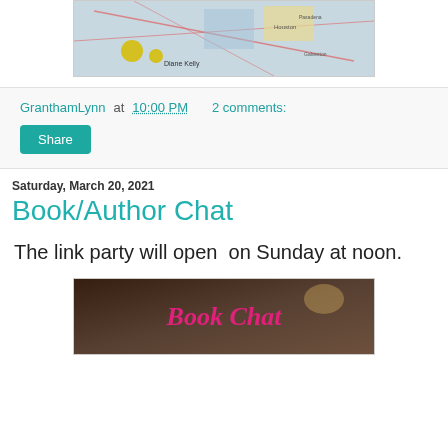[Figure (photo): Book cover or promotional image with map background, yellow circles, and 'Diane Kelly' text]
GranthamLynn at 10:00 PM   2 comments:
Share
Saturday, March 20, 2021
Book/Author Chat
The link party will open  on Sunday at noon.
[Figure (photo): Book Chat promotional image with dark blurred background and pink italic text reading 'Book Chat']